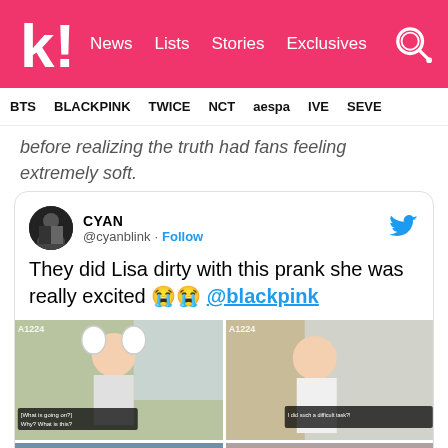k! News Lists Stories Exclusives
BTS BLACKPINK TWICE NCT aespa IVE SEVE
before realizing the truth had fans feeling extremely soft.
[Figure (screenshot): Embedded tweet from @cyanblink (CYAN) with text: 'They did Lisa dirty with this prank she was really excited 😭😭 @blackpink', with a 2x2 grid of video screenshots showing Lisa's reactions during a prank segment.]